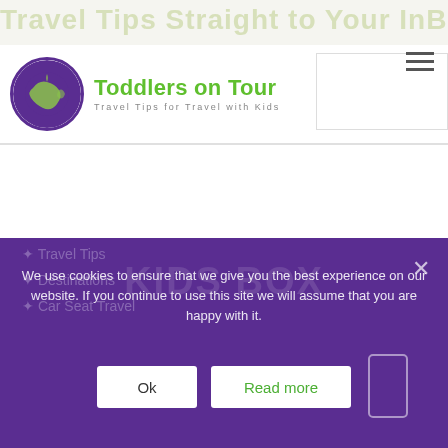Travel Tips Straight to Your InBox
[Figure (logo): Toddlers on Tour logo with globe icon]
Email Address
I have read and agree to the Privacy Policy
Yes Please, Sign Me Up
We use cookies to ensure that we give you the best experience on our website. If you continue to use this site we will assume that you are happy with it.
Ok
Read more